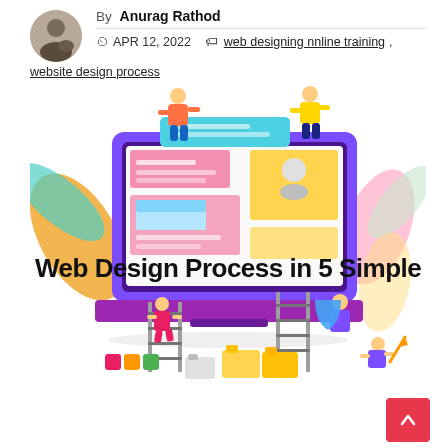By Anurag Rathod
APR 12, 2022   web designing nnline training, website design process
[Figure (illustration): Web Design Process in 5 Simple Steps – illustration showing people building a laptop/website interface with decorative foliage elements and the bold text overlay 'Web Design Process in 5 Simple Steps']